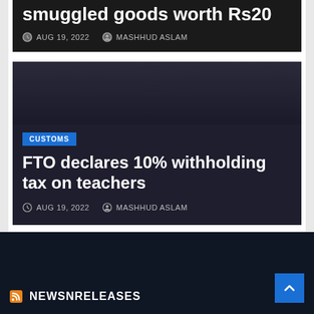smuggled goods worth Rs20
AUG 19, 2022  MASHHUD ASLAM
CUSTOMS
FTO declares 10% withholding tax on teachers
AUG 19, 2022  MASHHUD ASLAM
NEWSNRELEASES